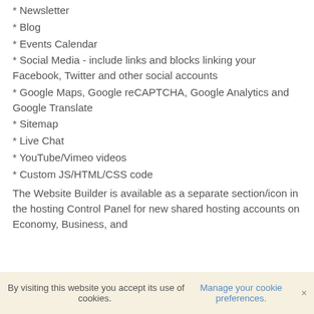* Newsletter
* Blog
* Events Calendar
* Social Media - include links and blocks linking your Facebook, Twitter and other social accounts
* Google Maps, Google reCAPTCHA, Google Analytics and Google Translate
* Sitemap
* Live Chat
* YouTube/Vimeo videos
* Custom JS/HTML/CSS code
The Website Builder is available as a separate section/icon in the hosting Control Panel for new shared hosting accounts on Economy, Business, and
By visiting this website you accept its use of cookies. Manage your cookie preferences. ×